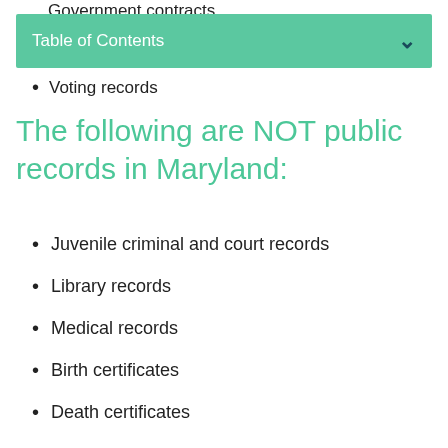Government contracts
Table of Contents
Voting records
The following are NOT public records in Maryland:
Juvenile criminal and court records
Library records
Medical records
Birth certificates
Death certificates
Marriage records
Divorce records
Student transcripts
Social welfare information